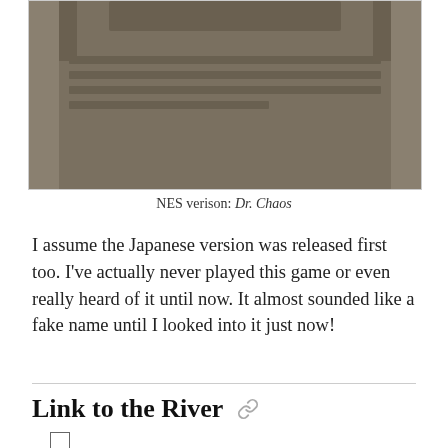[Figure (photo): NES game cartridge photographed against white background, showing the top/back of a gray cartridge]
NES verison: Dr. Chaos
I assume the Japanese version was released first too. I've actually never played this game or even really heard of it until now. It almost sounded like a fake name until I looked into it just now!
Link to the River
At some point, the dad get addicted to playing games after calling them junk previously in the